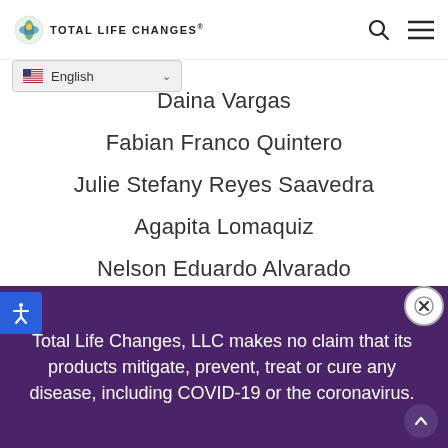Total Life Changes
Daina Vargas
Fabian Franco Quintero
Julie Stefany Reyes Saavedra
Agapita Lomaquiz
Nelson Eduardo Alvarado
Laury Prudent
Lasondra Golden
Total Life Changes, LLC makes no claim that its products mitigate, prevent, treat or cure any disease, including COVID-19 or the coronavirus.